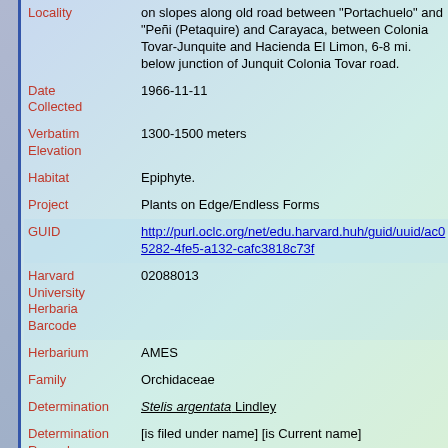| Field | Value |
| --- | --- |
| Locality | on slopes along old road between "Portachuelo" and "Peñi (Petaquire) and Carayaca, between Colonia Tovar-Junquite and Hacienda El Limon, 6-8 mi. below junction of Junquit Colonia Tovar road. |
| Date Collected | 1966-11-11 |
| Verbatim Elevation | 1300-1500 meters |
| Habitat | Epiphyte. |
| Project | Plants on Edge/Endless Forms |
| GUID | http://purl.oclc.org/net/edu.harvard.huh/guid/uuid/ac0 5282-4fe5-a132-cafc3818c73f |
| Harvard University Herbaria Barcode | 02088013 |
| Herbarium | AMES |
| Family | Orchidaceae |
| Determination | Stelis argentata Lindley |
| Determination Remarks | [is filed under name] [is Current name] |
| Accession Number | AMES 102453 |